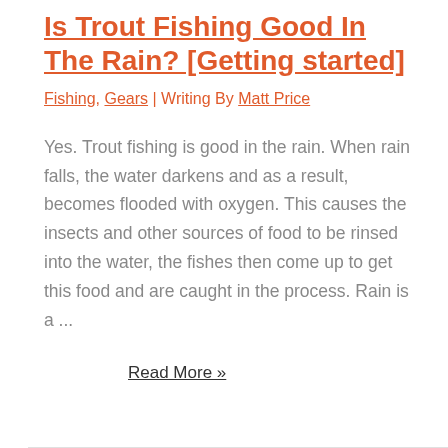Is Trout Fishing Good In The Rain? [Getting started]
Fishing, Gears | Writing By Matt Price
Yes. Trout fishing is good in the rain. When rain falls, the water darkens and as a result, becomes flooded with oxygen. This causes the insects and other sources of food to be rinsed into the water, the fishes then come up to get this food and are caught in the process. Rain is a ...
Read More »